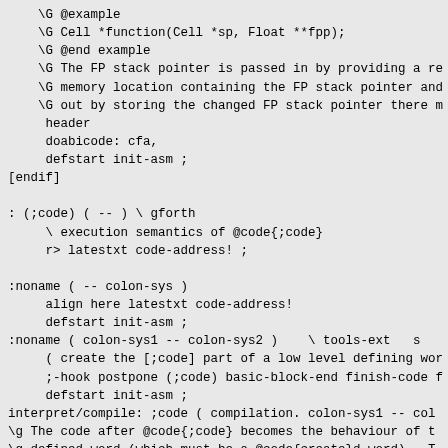\G @example
    \G Cell *function(Cell *sp, Float **fpp);
    \G @end example
    \G The FP stack pointer is passed in by providing a re
    \G memory location containing the FP stack pointer and
    \G out by storing the changed FP stack pointer there m
     header
     doabicode: cfa,
     defstart init-asm ;
[endif]

: (;code) ( -- ) \ gforth
     \ execution semantics of @code{;code}
     r> latestxt code-address! ;

:noname ( -- colon-sys )
     align here latestxt code-address!
     defstart init-asm ;
:noname ( colon-sys1 -- colon-sys2 )    \ tools-ext   s
     ( create the [;code] part of a low level defining wor
     ;-hook postpone (;code) basic-block-end finish-code f
     defstart init-asm ;
interpret/compile: ;code ( compilation. colon-sys1 -- col
\g The code after @code{;code} becomes the behaviour of t
\g defined word (which must be a @code{create}d word).  T
\g caveats apply as for @code{code}, so we recommend usir
\g @code{;abi-code} instead.

[ifdef] do;abicode:
: !;abi-code ( addr -- )